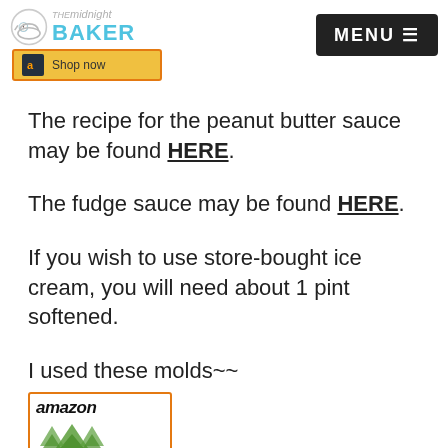The Midnight Baker | MENU
[Figure (logo): Amazon Shop Now button with orange border and yellow background]
The recipe for the peanut butter sauce may be found HERE.
The fudge sauce may be found HERE.
If you wish to use store-bought ice cream, you will need about 1 pint softened.
I used these molds~~
[Figure (logo): Amazon product widget with amazon logo and product image (green trees/molds)]